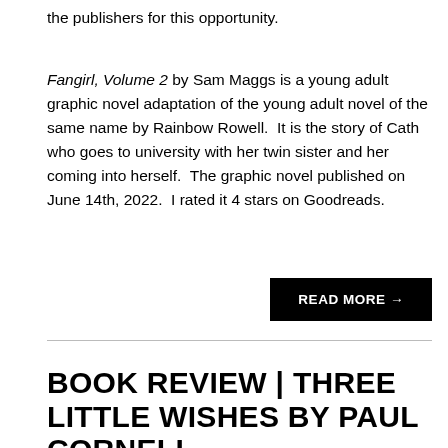the publishers for this opportunity.
Fangirl, Volume 2 by Sam Maggs is a young adult graphic novel adaptation of the young adult novel of the same name by Rainbow Rowell.  It is the story of Cath who goes to university with her twin sister and her coming into herself.  The graphic novel published on June 14th, 2022.  I rated it 4 stars on Goodreads.
READ MORE →
BOOK REVIEW | THREE LITTLE WISHES BY PAUL CORNELL